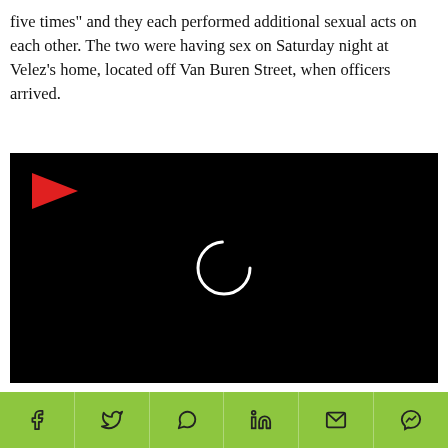five times" and they each performed additional sexual acts on each other. The two were having sex on Saturday night at Velez's home, located off Van Buren Street, when officers arrived.
[Figure (screenshot): Black video player with red play arrow in top-left corner and a white loading spinner circle in the center]
According to the police report, the victim's family had a
Social share bar with Facebook, Twitter, WhatsApp, LinkedIn, Email, and Messenger icons on a green background